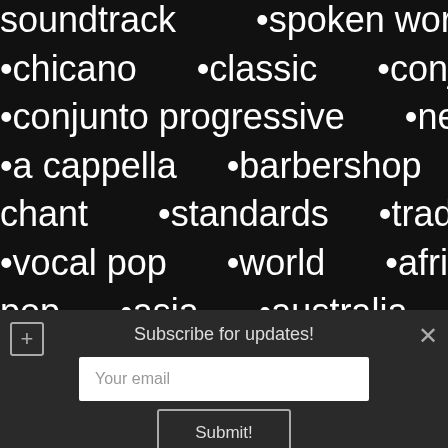•soundtrack •spoken word
•chicano •classic •conj
•conjunto progressive •new
•a cappella •barbershop
chant •standards •trad
•vocal pop •world •afri
pop •asia •australia
Subscribe for updates!
Your email
Submit!